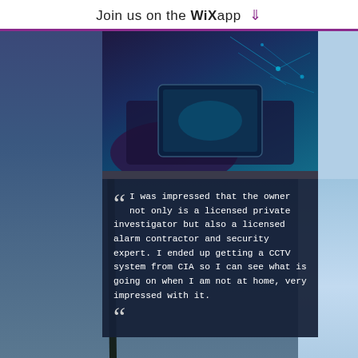Join us on the WiX app ↓
[Figure (photo): Hands holding a tablet with glowing network/circuit lines, dark purple-blue tones]
" I was impressed that the owner not only is a licensed private investigator but also a licensed alarm contractor and security expert. I ended up getting a CCTV system from CIA so I can see what is going on when I am not at home, very impressed with it. "